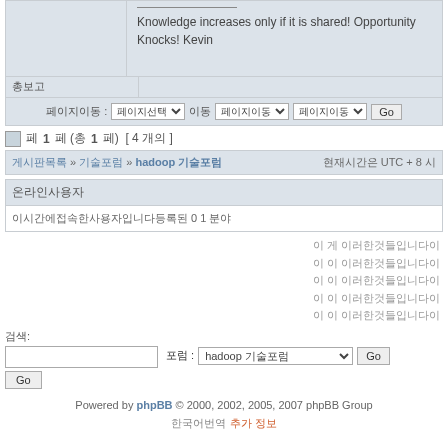Knowledge increases only if it is shared! Opportunity Knocks! Kevin
총보고
페이지이동 : 페이지선택 이동 페이지이동 페이지이동 Go
페 1페 (총 1 페) [ 4 개의 ]
게시판목록 » 기술포럼 » hadoop 기술포럼 현재시간은 UTC + 8 시
온라인사용자
이시간에접속한사용자입니다등록된 0 1 분야
통계 관련 텍스트들
검색:
포럼 : hadoop 기술포럼 Go
Powered by phpBB © 2000, 2002, 2005, 2007 phpBB Group